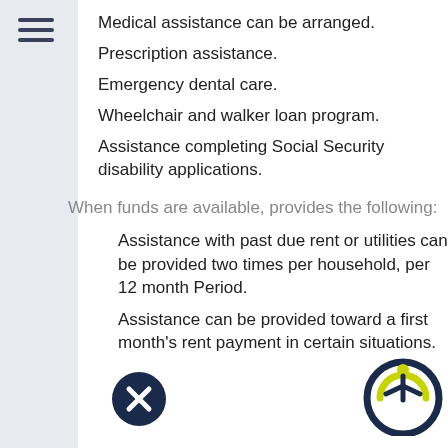Medical assistance can be arranged.
Prescription assistance.
Emergency dental care.
Wheelchair and walker loan program.
Assistance completing Social Security disability applications.
When funds are available, provides the following:
Assistance with past due rent or utilities can be provided two times per household, per 12 month Period.
Assistance can be provided toward a first month's rent payment in certain situations.